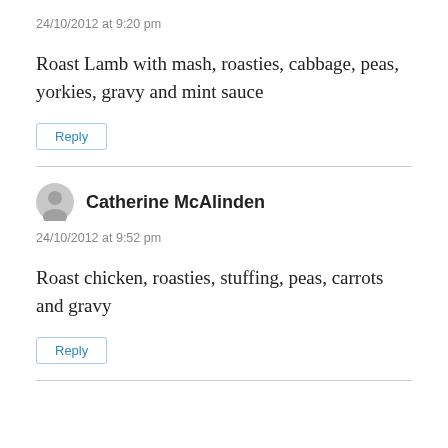24/10/2012 at 9:20 pm
Roast Lamb with mash, roasties, cabbage, peas, yorkies, gravy and mint sauce
Reply
Catherine McAlinden
24/10/2012 at 9:52 pm
Roast chicken, roasties, stuffing, peas, carrots and gravy
Reply